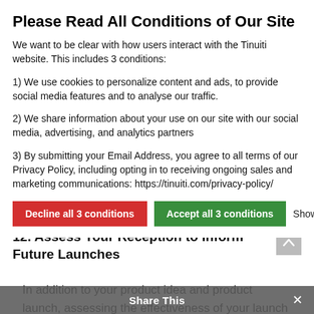Please Read All Conditions of Our Site
We want to be clear with how users interact with the Tinuiti website. This includes 3 conditions:
1) We use cookies to personalize content and ads, to provide social media features and to analyse our traffic.
2) We share information about your use on our site with our social media, advertising, and analytics partners
3) By submitting your Email Address, you agree to all terms of our Privacy Policy, including opting in to receiving ongoing sales and marketing communications: https://tinuiti.com/privacy-policy/
Decline all 3 conditions | Accept all 3 conditions | Show details
12. Assess Your Reception to Inform Future Launches
In addition to your product idea and product launch, assessing the effectiveness of your launch
Share this